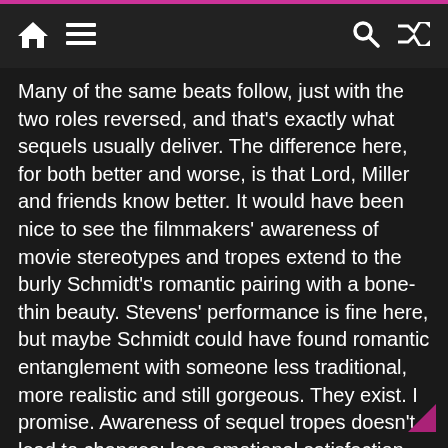Navigation bar with home, menu, search, and shuffle icons
Many of the same beats follow, just with the two roles reversed, and that's exactly what sequels usually deliver. The difference here, for both better and worse, is that Lord, Miller and friends know better. It would have been nice to see the filmmakers' awareness of movie stereotypes and tropes extend to the burly Schmidt's romantic pairing with a bone-thin beauty. Stevens' performance is fine here, but maybe Schmidt could have found romantic entanglement with someone less traditional, more realistic and still gorgeous. They exist. I promise. Awareness of sequel tropes doesn't lead to changes; less emotional satisfaction due to repetitiveness; doesn't care about dumb plot points; meta could have been taken further.